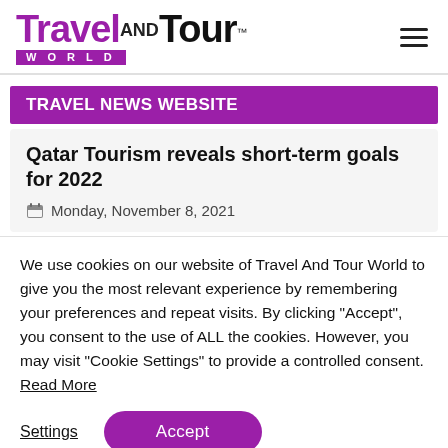Travel AND Tour WORLD TM
TRAVEL NEWS WEBSITE
Qatar Tourism reveals short-term goals for 2022
Monday, November 8, 2021
We use cookies on our website of Travel And Tour World to give you the most relevant experience by remembering your preferences and repeat visits. By clicking “Accept”, you consent to the use of ALL the cookies. However, you may visit "Cookie Settings" to provide a controlled consent. Read More
Settings | Accept